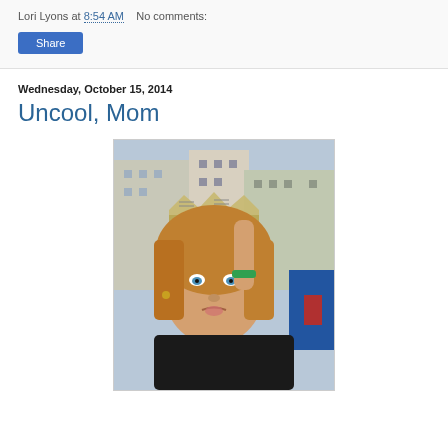Lori Lyons at 8:54 AM   No comments:
Share
Wednesday, October 15, 2014
Uncool, Mom
[Figure (photo): A woman wearing a folded newspaper crown on her head, making a pouty face, outdoors with city buildings in the background.]